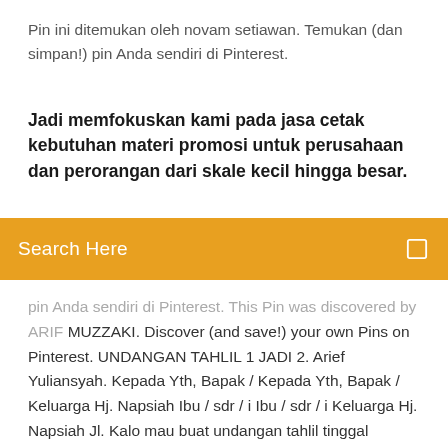Pin ini ditemukan oleh novam setiawan. Temukan (dan simpan!) pin Anda sendiri di Pinterest.
Jadi memfokuskan kami pada jasa cetak kebutuhan materi promosi untuk perusahaan dan perorangan dari skale kecil hingga besar.
Search Here
pin Anda sendiri di Pinterest. This Pin was discovered by ARIF MUZZAKI. Discover (and save!) your own Pins on Pinterest. UNDANGAN TAHLIL 1 JADI 2. Arief Yuliansyah. Kepada Yth, Bapak / Kepada Yth, Bapak / Keluarga Hj. Napsiah Ibu / sdr / i Ibu / sdr / i Keluarga Hj. Napsiah Jl. Kalo mau buat undangan tahlil tinggal download trus edit trus print dehh.. kertas ukuran F4 (hvs) by dian_permana_19. 26 Mei 2011 Contoh Undangan 1 Lembar Jadi 2 Document Information. click to expand Download as DOC, PDF, TXT or read online from Scribd. Flag for inappropriate content. Download Now Undangan Tahlil ( 1